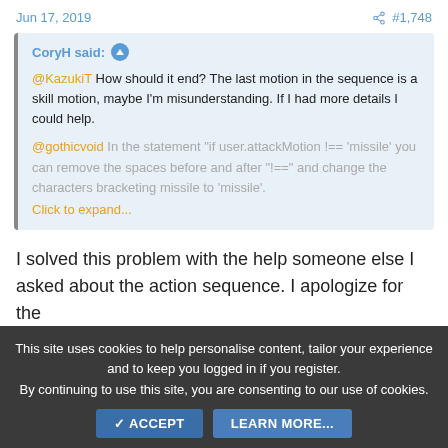Jun 17, 2019    #1,748
CoryH said: ↑
@KazukiT How should it end? The last motion in the sequence is a skill motion, maybe I'm misunderstanding. If I had more details I could help.
@gothicvoid In the statement "if user.attackMotion !== 'missile' you can remove the spaces before and after "!==" and change the characters bracketing missile to 'missile'.
Click to expand...
I solved this problem with the help someone else I asked about the action sequence. I apologize for the confusion and the above for trying to help.
This site uses cookies to help personalise content, tailor your experience and to keep you logged in if you register.
By continuing to use this site, you are consenting to our use of cookies.
ACCEPT   LEARN MORE...